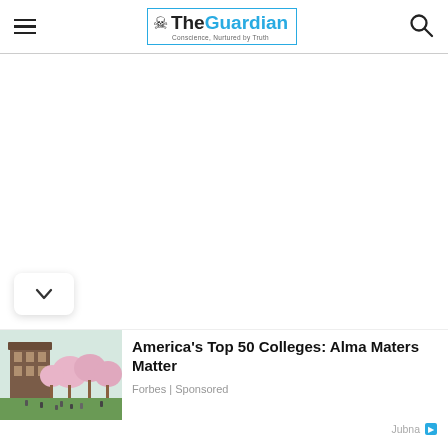The Guardian — Conscience, Nurtured by Truth
[Figure (screenshot): Large white blank/empty area in the middle of the page, representing an ad or content placeholder]
[Figure (photo): University campus scene with cherry blossom trees and students on a green lawn, tall brick building in background]
America's Top 50 Colleges: Alma Maters Matter
Forbes | Sponsored
Jubna